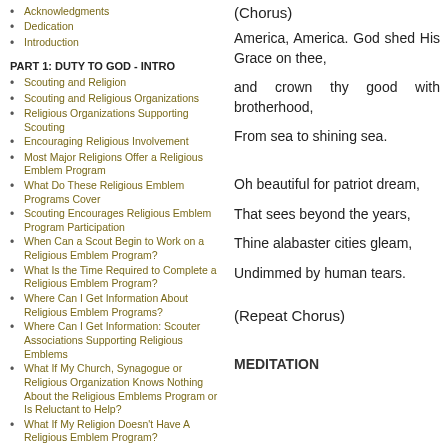Acknowledgments
Dedication
Introduction
PART 1: DUTY TO GOD - INTRO
Scouting and Religion
Scouting and Religious Organizations
Religious Organizations Supporting Scouting
Encouraging Religious Involvement
Most Major Religions Offer a Religious Emblem Program
What Do These Religious Emblem Programs Cover
Scouting Encourages Religious Emblem Program Participation
When Can a Scout Begin to Work on a Religious Emblem Program?
What Is the Time Required to Complete a Religious Emblem Program?
Where Can I Get Information About Religious Emblem Programs?
Where Can I Get Information: Scouter Associations Supporting Religious Emblems
What If My Church, Synagogue or Religious Organization Knows Nothing About the Religious Emblems Program or Is Reluctant to Help?
What If My Religion Doesn't Have A Religious Emblem Program?
Are There Awards for Parent Participation With a Scout in a Religious Emblem Program?
Are There Religious Awards for Adult Scouters?
Awards for Units with High Levels of Participation in Religious Growth
(Chorus)
America, America. God shed His Grace on thee,
and crown thy good with brotherhood,
From sea to shining sea.
Oh beautiful for patriot dream,
That sees beyond the years,
Thine alabaster cities gleam,
Undimmed by human tears.
(Repeat Chorus)
MEDITATION